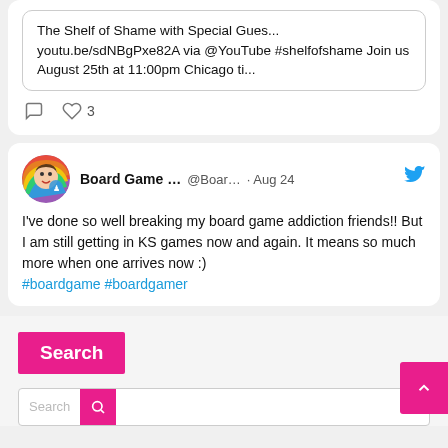The Shelf of Shame with Special Gues... youtu.be/sdNBgPxe82A via @YouTube #shelfofshame Join us August 25th at 11:00pm Chicago ti...
3 likes
Board Game ... @Boar... · Aug 24
I've done so well breaking my board game addiction friends!! But I am still getting in KS games now and again. It means so much more when one arrives now :)
#boardgame #boardgamer
Search
Search